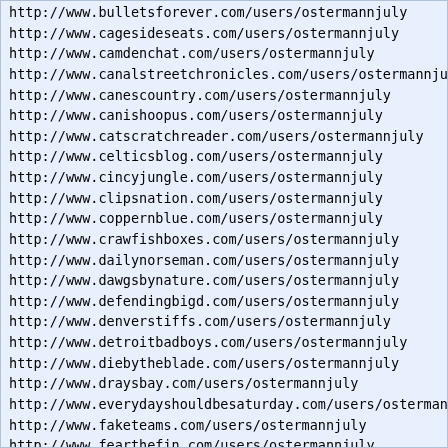http://www.bulletsforever.com/users/ostermannjuly
http://www.cagesideseats.com/users/ostermannjuly
http://www.camdenchat.com/users/ostermannjuly
http://www.canalstreetchronicles.com/users/ostermannjuly
http://www.canescountry.com/users/ostermannjuly
http://www.canishoopus.com/users/ostermannjuly
http://www.catscratchreader.com/users/ostermannjuly
http://www.celticsblog.com/users/ostermannjuly
http://www.cincyjungle.com/users/ostermannjuly
http://www.clipsnation.com/users/ostermannjuly
http://www.coppernblue.com/users/ostermannjuly
http://www.crawfishboxes.com/users/ostermannjuly
http://www.dailynorseman.com/users/ostermannjuly
http://www.dawgsbynature.com/users/ostermannjuly
http://www.defendingbigd.com/users/ostermannjuly
http://www.denverstiffs.com/users/ostermannjuly
http://www.detroitbadboys.com/users/ostermannjuly
http://www.diebytheblade.com/users/ostermannjuly
http://www.draysbay.com/users/ostermannjuly
http://www.everydayshouldbesaturday.com/users/ostermannjuly
http://www.faketeams.com/users/ostermannjuly
http://www.fearthefin.com/users/ostermannjuly
http://www.fearthesword.com/users/ostermannjuly
http://www.federalbaseball.com/users/ostermannjuly
http://www.fieldgulls.com/users/ostermannjuly
http://www.fishstripes.com/users/ostermannjuly
http://www.fiveforhowling.com/users/ostermannjuly
http://www.footballstudyhall.com/users/ostermannjuly
http://www.ganggreennation.com/users/ostermannjuly